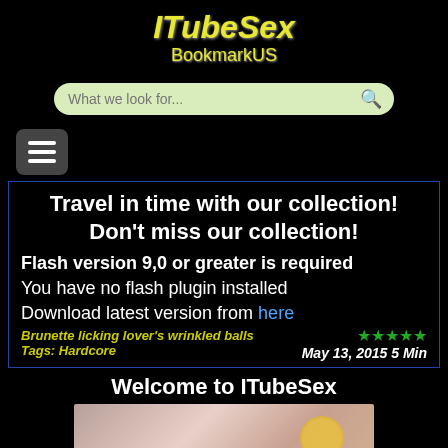ITubeSex BookmarkUS
Travel in time with our collection! Don't miss our collection!
Flash version 9,0 or greater is required
You have no flash plugin installed
Download latest version from here
Brunette licking lover's wrinkled balls
Tags: Hardcore
★★★★★ May 13, 2015 5 Min
Welcome to ITubeSex
[Figure (photo): Thumbnail image at bottom of page]